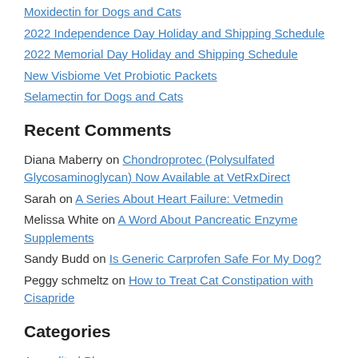Moxidectin for Dogs and Cats
2022 Independence Day Holiday and Shipping Schedule
2022 Memorial Day Holiday and Shipping Schedule
New Visbiome Vet Probiotic Packets
Selamectin for Dogs and Cats
Recent Comments
Diana Maberry on Chondroprotec (Polysulfated Glycosaminoglycan) Now Available at VetRxDirect
Sarah on A Series About Heart Failure: Vetmedin
Melissa White on A Word About Pancreatic Enzyme Supplements
Sandy Budd on Is Generic Carprofen Safe For My Dog?
Peggy schmeltz on How to Treat Cat Constipation with Cisapride
Categories
Accredited Pharmacy